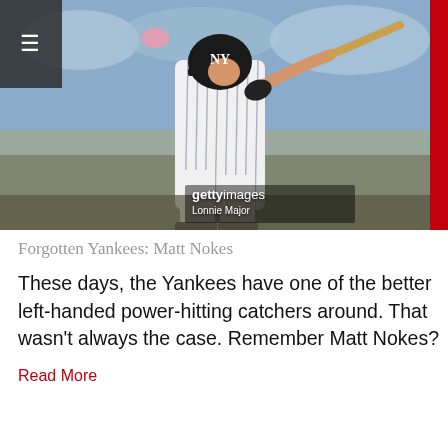[Figure (photo): A New York Yankees baseball player in pinstripe uniform swinging a bat, photographed at a game with crowd in background. Getty Images watermark visible with credit to Lonnie Major.]
Forgotten Yankees: Matt Nokes
These days, the Yankees have one of the better left-handed power-hitting catchers around. That wasn't always the case. Remember Matt Nokes?
Read More